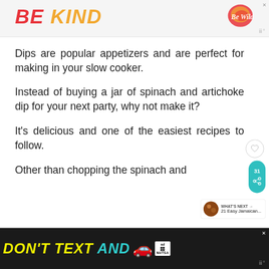[Figure (screenshot): Top advertisement banner with 'BE KIND' text in red and orange italic letters, decorative swirl logo on right, small X close button, and Moat verification logo]
Dips are popular appetizers and are perfect for making in your slow cooker.
Instead of buying a jar of spinach and artichoke dip for your next party, why not make it?
It's delicious and one of the easiest recipes to follow.
Other than chopping the spinach and artichoke dip for your next party, why not make it? is
[Figure (screenshot): Bottom advertisement banner with dark background, 'DON'T TEXT AND' in yellow and cyan bold italic text, red car emoji, ad choice badge, NHTSA logo, X close button, and Moat verification logo]